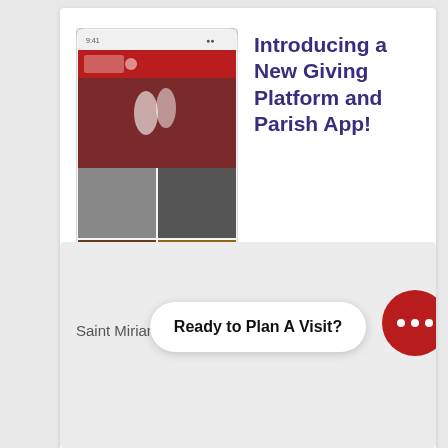[Figure (screenshot): Mobile phone app screenshot showing a parish app with images of religious items and events]
Introducing a New Giving Platform and Parish App!
[Figure (screenshot): Amazon Smile thumbnail showing a church interior with orange/yellow banner]
Help Us Every Time You Shop Amazon
Saint Miriam uses P
Ready to Plan A Visit?